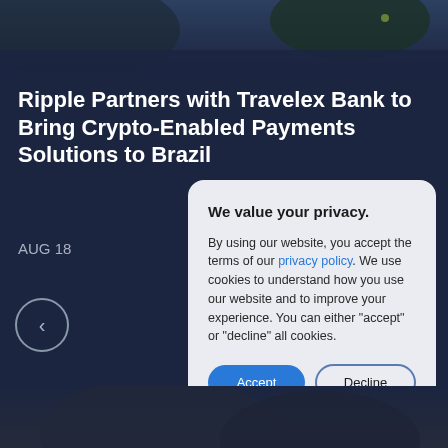[Figure (photo): Dark landscape or nature photo at the top of the page with muted dark blue-green tones]
Ripple Partners with Travelex Bank to Bring Crypto-Enabled Payments Solutions to Brazil
AUG 18
[Figure (screenshot): Cookie consent modal dialog with title 'We value your privacy.' and body text about privacy policy and cookies, with Accept and Decline buttons]
[Figure (photo): Dark photo at bottom of page with muted tones, partially visible]